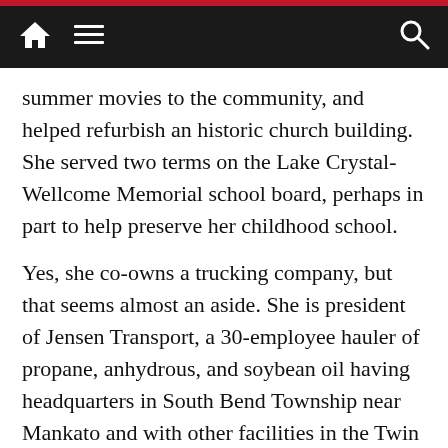Navigation bar with home, menu, and search icons
summer movies to the community, and helped refurbish an historic church building. She served two terms on the Lake Crystal-Wellcome Memorial school board, perhaps in part to help preserve her childhood school.
Yes, she co-owns a trucking company, but that seems almost an aside. She is president of Jensen Transport, a 30-employee hauler of propane, anhydrous, and soybean oil having headquarters in South Bend Township near Mankato and with other facilities in the Twin Cities and Benson. She began typing freight cards at Jensen Transport as a 17-year-old high school senior and twenty-seven